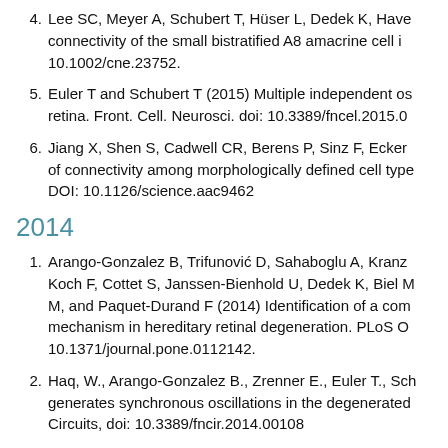4. Lee SC, Meyer A, Schubert T, Hüser L, Dedek K, Have... connectivity of the small bistratified A8 amacrine cell i... 10.1002/cne.23752.
5. Euler T and Schubert T (2015) Multiple independent os... retina. Front. Cell. Neurosci. doi: 10.3389/fncel.2015.0...
6. Jiang X, Shen S, Cadwell CR, Berens P, Sinz F, Ecker... of connectivity among morphologically defined cell type... DOI: 10.1126/science.aac9462
2014
1. Arango-Gonzalez B, Trifunović D, Sahaboglu A, Kranz... Koch F, Cottet S, Janssen-Bienhold U, Dedek K, Biel M... M, and Paquet-Durand F (2014) Identification of a com... mechanism in hereditary retinal degeneration. PLoS O... 10.1371/journal.pone.0112142.
2. Haq, W., Arango-Gonzalez B., Zrenner E., Euler T., Sc... generates synchronous oscillations in the degenerated... Circuits, doi: 10.3389/fncir.2014.00108